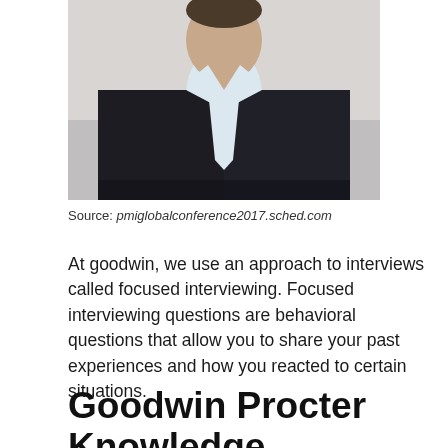[Figure (photo): Professional headshot/portrait of a man in a dark suit with a light blue tie, shot from chest up against a light background.]
Source: pmiglobalconference2017.sched.com
At goodwin, we use an approach to interviews called focused interviewing. Focused interviewing questions are behavioral questions that allow you to share your past experiences and how you reacted to certain situations.
Goodwin Procter Knowledge Management